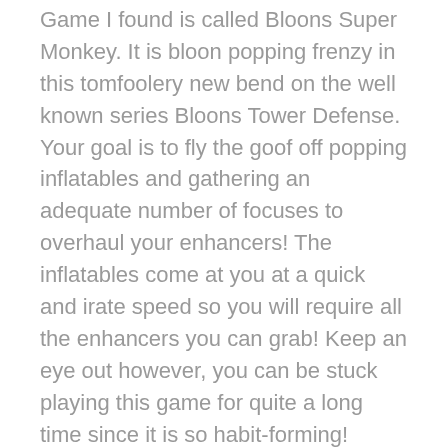Game I found is called Bloons Super Monkey. It is bloon popping frenzy in this tomfoolery new bend on the well known series Bloons Tower Defense. Your goal is to fly the goof off popping inflatables and gathering an adequate number of focuses to overhaul your enhancers! The inflatables come at you at a quick and irate speed so you will require all the enhancers you can grab! Keep an eye out however, you can be stuck playing this game for quite a long time since it is so habit-forming!
Young lady spruce up games is rapidly turning out to be extremely well known among web based gamers. One truly fun